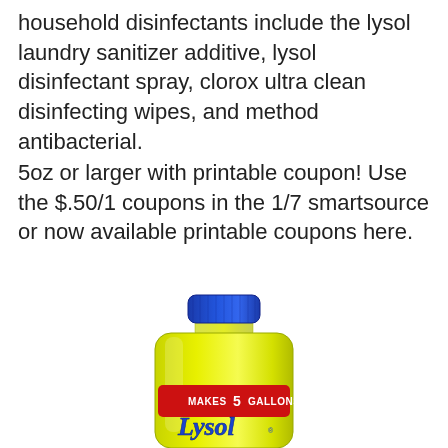household disinfectants include the lysol laundry sanitizer additive, lysol disinfectant spray, clorox ultra clean disinfecting wipes, and method antibacterial.
5oz or larger with printable coupon! Use the $.50/1 coupons in the 1/7 smartsource or now available printable coupons here.
[Figure (photo): A bottle of Lysol laundry sanitizer with a blue cap and yellow liquid inside. The label reads 'MAKES 5 GALLONS' and shows the Lysol brand name in cursive script.]